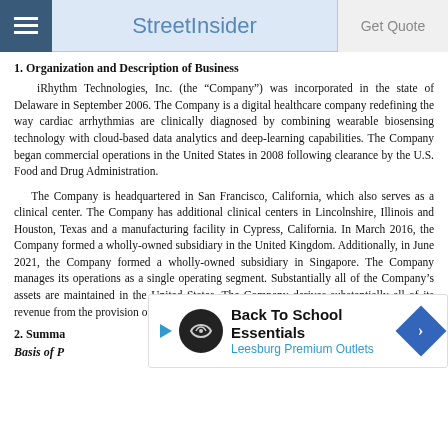StreetInsider | Get Quote
1. Organization and Description of Business
iRhythm Technologies, Inc. (the “Company”) was incorporated in the state of Delaware in September 2006. The Company is a digital healthcare company redefining the way cardiac arrhythmias are clinically diagnosed by combining wearable biosensing technology with cloud-based data analytics and deep-learning capabilities. The Company began commercial operations in the United States in 2008 following clearance by the U.S. Food and Drug Administration.
The Company is headquartered in San Francisco, California, which also serves as a clinical center. The Company has additional clinical centers in Lincolnshire, Illinois and Houston, Texas and a manufacturing facility in Cypress, California. In March 2016, the Company formed a wholly-owned subsidiary in the United Kingdom. Additionally, in June 2021, the Company formed a wholly-owned subsidiary in Singapore. The Company manages its operations as a single operating segment. Substantially all of the Company’s assets are maintained in the United States. The Company derives substantially all of its revenue from the provision of services to customers in the United States.
2. Summa
Basis of P